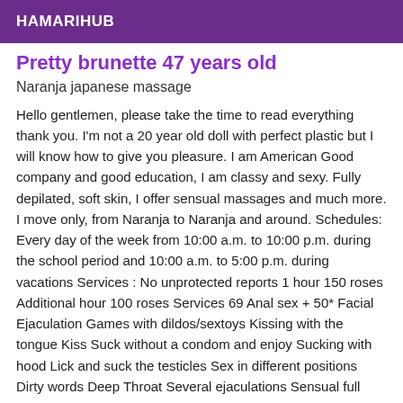HAMARIHUB
Pretty brunette 47 years old
Naranja japanese massage
Hello gentlemen, please take the time to read everything thank you. I'm not a 20 year old doll with perfect plastic but I will know how to give you pleasure. I am American Good company and good education, I am classy and sexy. Fully depilated, soft skin, I offer sensual massages and much more. I move only, from Naranja to Naranja and around. Schedules: Every day of the week from 10:00 a.m. to 10:00 p.m. during the school period and 10:00 a.m. to 5:00 p.m. during vacations Services : No unprotected reports 1 hour 150 roses Additional hour 100 roses Services 69 Anal sex + 50* Facial Ejaculation Games with dildos/sextoys Kissing with the tongue Kiss Suck without a condom and enjoy Sucking with hood Lick and suck the testicles Sex in different positions Dirty words Deep Throat Several ejaculations Sensual full